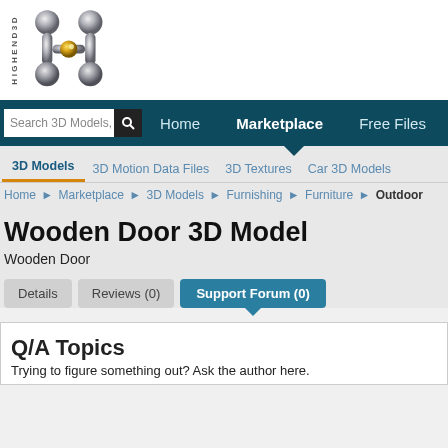[Figure (logo): HighEnd3D logo: stylized metallic H-shape with gold center orb, vertical text HIGHEND3D on left]
Search 3D Models, | Home | Marketplace | Free Files
3D Models
3D Motion Data Files
3D Textures
Car 3D Models
Home ▶ Marketplace ▶ 3D Models ▶ Furnishing ▶ Furniture ▶ Outdoor
Wooden Door 3D Model
Wooden Door
Details   Reviews (0)   Support Forum (0)
Q/A Topics
Trying to figure something out? Ask the author here.